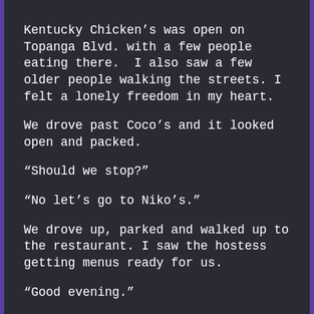Kentucky Chicken’s was open on Topanga Blvd. with a few people eating there.  I also saw a few older people walking the streets. I felt a lonely freedom in my heart.
We drove past Coco’s and it looked open and packed.
“Should we stop?”
“No let’s go to Niko’s.”
We drove up, parked and walked up to the restaurant. I saw the hostess getting menus ready for us.
“Good evening.”
“Happy Thanksgiving,” we all said. Then we sat at a booth.